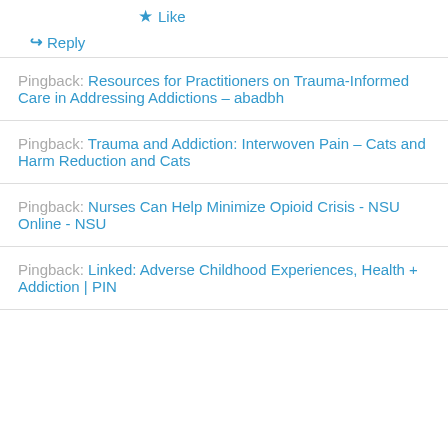★ Like
↪ Reply
Pingback: Resources for Practitioners on Trauma-Informed Care in Addressing Addictions – abadbh
Pingback: Trauma and Addiction: Interwoven Pain – Cats and Harm Reduction and Cats
Pingback: Nurses Can Help Minimize Opioid Crisis - NSU Online - NSU
Pingback: Linked: Adverse Childhood Experiences, Health + Addiction | PIN